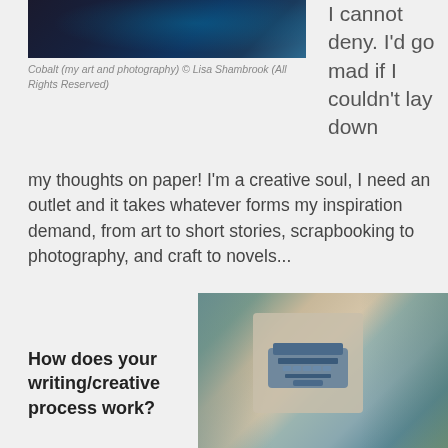[Figure (photo): Dark blue/black artistic photo, appears to be an animal or creature in blue tones]
Cobalt (my art and photography) © Lisa Shambrook (All Rights Reserved)
I cannot deny. I'd go mad if I couldn't lay down my thoughts on paper! I'm a creative soul, I need an outlet and it takes whatever forms my inspiration demand, from art to short stories, scrapbooking to photography, and craft to novels...
How does your writing/creative process work?
[Figure (photo): Collage/collection of photographs and cards spread out, including one with a typewriter illustration and one with a figure/person]